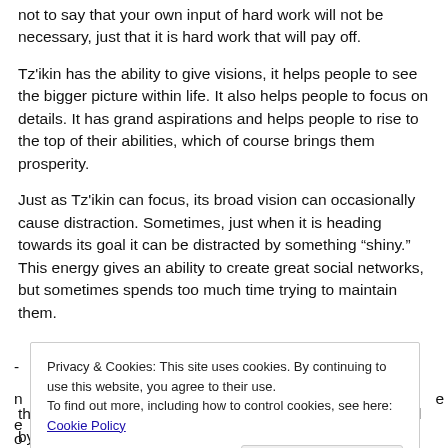not to say that your own input of hard work will not be necessary, just that it is hard work that will pay off.
Tz'ikin has the ability to give visions, it helps people to see the bigger picture within life. It also helps people to focus on details. It has grand aspirations and helps people to rise to the top of their abilities, which of course brings them prosperity.
Just as Tz'ikin can focus, its broad vision can occasionally cause distraction. Sometimes, just when it is heading towards its goal it can be distracted by something “shiny.” This energy gives an ability to create great social networks, but sometimes spends too much time trying to maintain them.
Privacy & Cookies: This site uses cookies. By continuing to use this website, you agree to their use.
To find out more, including how to control cookies, see here: Cookie Policy
Close and accept
the buildings, then you go to the Caribbean and are moved by